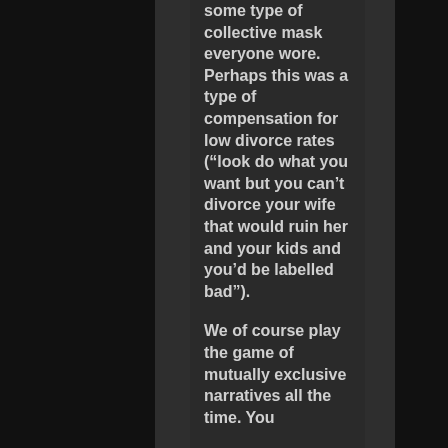some type of collective mask everyone wore. Perhaps this was a type of compensation for low divorce rates (“look do what you want but you can’t divorce your wife that would ruin her and your kids and you’d be labelled bad”).
We of course play the game of mutually exclusive narratives all the time. You